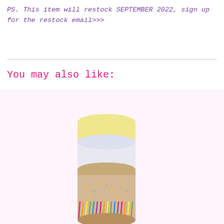PS. This item will restock SEPTEMBER 2022, sign up for the restock email>>>
You may also like:
[Figure (photo): A cosmetic stick product in a cylindrical cardboard tube with colorful star and rainbow/fringe pattern decoration. The stick has a pale yellow/cream balm top. A magenta circular badge labeled 'En solde' (On sale) appears in the upper right.]